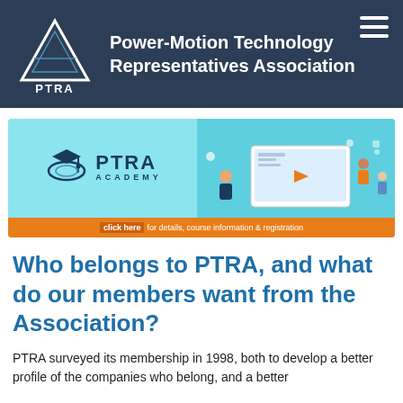Power-Motion Technology Representatives Association
[Figure (illustration): PTRA Academy promotional banner with logo on left side showing a graduation cap over an orbital ring graphic, and people collaborating around a laptop/screen on the right side. Orange button at bottom: 'click here for details, course information & registration']
Who belongs to PTRA, and what do our members want from the Association?
PTRA surveyed its membership in 1998, both to develop a better profile of the companies who belong, and a better